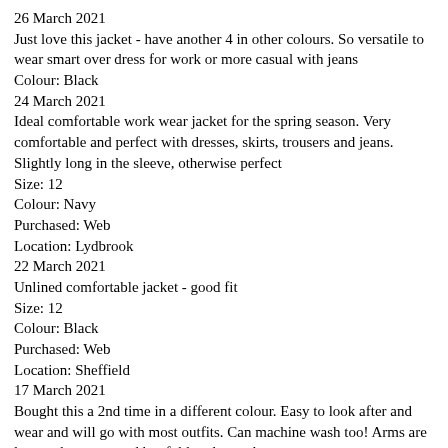26 March 2021
Just love this jacket - have another 4 in other colours. So versatile to wear smart over dress for work or more casual with jeans
Colour: Black
24 March 2021
Ideal comfortable work wear jacket for the spring season. Very comfortable and perfect with dresses, skirts, trousers and jeans. Slightly long in the sleeve, otherwise perfect
Size: 12
Colour: Navy
Purchased: Web
Location: Lydbrook
22 March 2021
Unlined comfortable jacket - good fit
Size: 12
Colour: Black
Purchased: Web
Location: Sheffield
17 March 2021
Bought this a 2nd time in a different colour. Easy to look after and wear and will go with most outfits. Can machine wash too! Arms are longer than expected but fold under to shorten
Size: 08
Colour: Navy
Purchased: Web